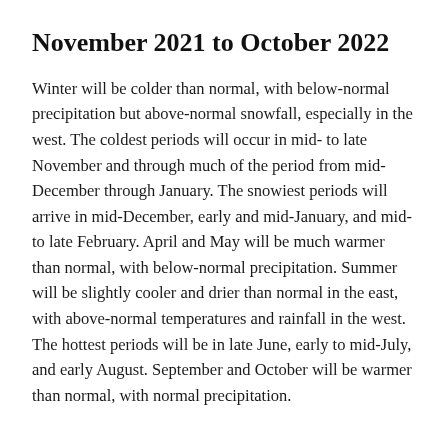November 2021 to October 2022
Winter will be colder than normal, with below-normal precipitation but above-normal snowfall, especially in the west. The coldest periods will occur in mid- to late November and through much of the period from mid-December through January. The snowiest periods will arrive in mid-December, early and mid-January, and mid- to late February. April and May will be much warmer than normal, with below-normal precipitation. Summer will be slightly cooler and drier than normal in the east, with above-normal temperatures and rainfall in the west. The hottest periods will be in late June, early to mid-July, and early August. September and October will be warmer than normal, with normal precipitation.